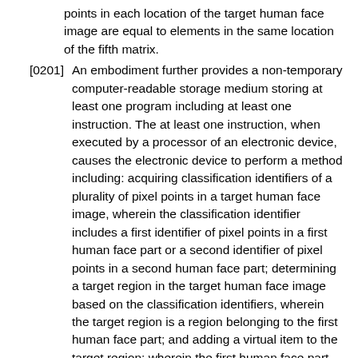points in each location of the target human face image are equal to elements in the same location of the fifth matrix.
[0201] An embodiment further provides a non-temporary computer-readable storage medium storing at least one program including at least one instruction. The at least one instruction, when executed by a processor of an electronic device, causes the electronic device to perform a method including: acquiring classification identifiers of a plurality of pixel points in a target human face image, wherein the classification identifier includes a first identifier of pixel points in a first human face part or a second identifier of pixel points in a second human face part; determining a target region in the target human face image based on the classification identifiers, wherein the target region is a region belonging to the first human face part; and adding a virtual item to the target region; wherein the first human face part includes an uncovered human face part, and the second human face part includes a covered human face part or a non-human face part.